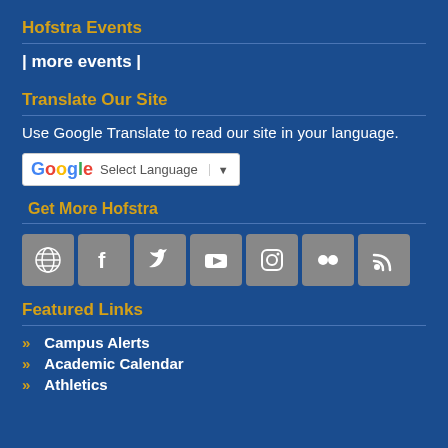Hofstra Events
| more events |
Translate Our Site
Use Google Translate to read our site in your language.
[Figure (screenshot): Google Translate widget with 'Select Language' dropdown and dropdown arrow]
Get More Hofstra
[Figure (infographic): Row of 7 social media icons: globe/website, Facebook, Twitter, YouTube, Instagram, Flickr, RSS feed]
Featured Links
Campus Alerts
Academic Calendar
Athletics